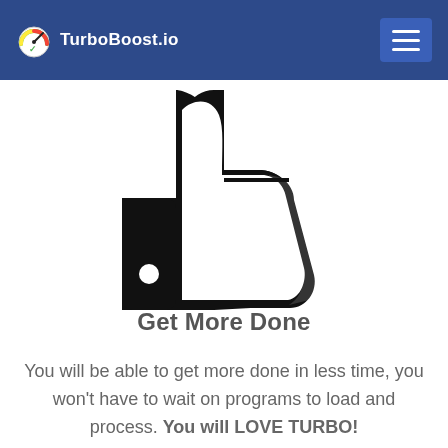TurboBoost.io
[Figure (illustration): Large black thumbs-up icon on white background, cropped at top]
Get More Done
You will be able to get more done in less time, you won't have to wait on programs to load and process. You will LOVE TURBO!